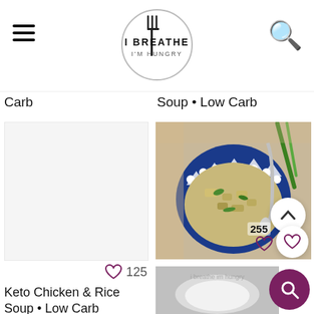I BREATHE I'M HUNGRY
Carb
Soup • Low Carb
[Figure (photo): Blank/white placeholder image for Keto Chicken & Rice Soup card]
125
Keto Chicken & Rice Soup • Low Carb
[Figure (photo): Photo of a blue and white patterned Polish pottery bowl filled with Keto Chicken Soup with vegetables, with a spoon and green onions in background]
255
Keto Chicken Soup • only 100 calories per bowl!
[Figure (photo): Partial bottom image, appears to be another soup or dish recipe card, mostly gray/white]